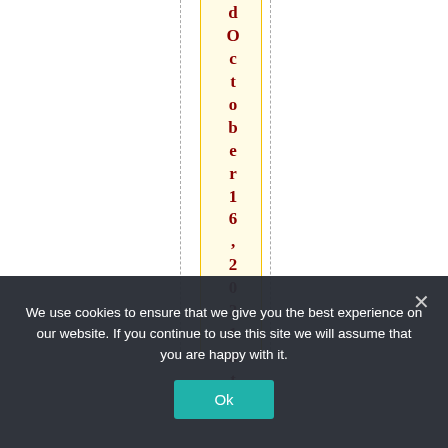dOctober 16, 2021 at c
We use cookies to ensure that we give you the best experience on our website. If you continue to use this site we will assume that you are happy with it.